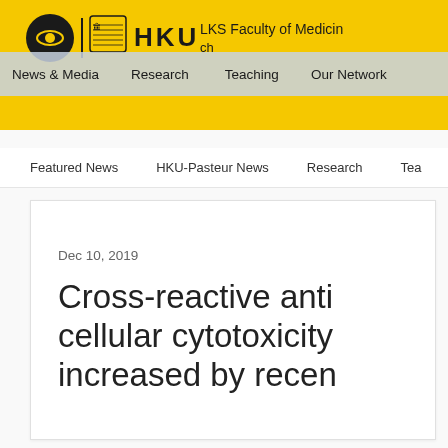[Figure (logo): HKU LKS Faculty of Medicine header with yellow background, circular logo, crest, and HKU text with faculty name]
News & Media  Research  Teaching  Our Network
Featured News  HKU-Pasteur News  Research  Tea...
Dec 10, 2019
Cross-reactive anti- cellular cytotoxicity increased by recen...